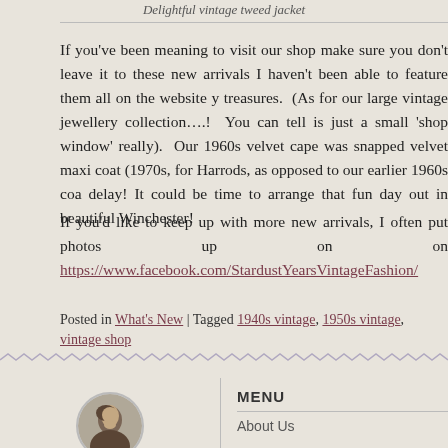Delightful vintage tweed jacket
If you've been meaning to visit our shop make sure you don't leave it to these new arrivals I haven't been able to feature them all on the website y treasures. (As for our large vintage jewellery collection….! You can tell is just a small 'shop window' really). Our 1960s velvet cape was snapped velvet maxi coat (1970s, for Harrods, as opposed to our earlier 1960s coat delay! It could be time to arrange that fun day out in beautiful Winchester!
If you'd like to keep up with more new arrivals, I often put photos up on on https://www.facebook.com/StardustYearsVintageFashion/
Posted in What's New | Tagged 1940s vintage, 1950s vintage, vintage shop
[Figure (photo): Circular avatar photo of a woman]
MENU
About Us